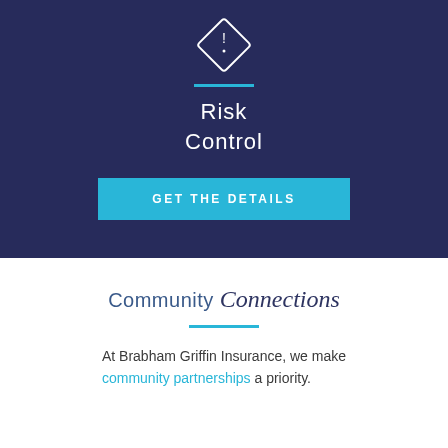[Figure (logo): White diamond/rhombus icon with exclamation mark inside, outline style, on dark navy background]
Risk Control
GET THE DETAILS
Community Connections
At Brabham Griffin Insurance, we make community partnerships a priority.